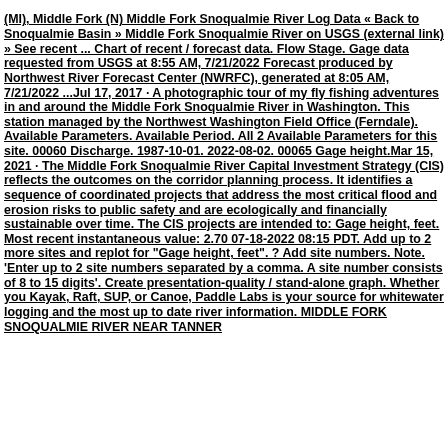(MI), Middle Fork (N) Middle Fork Snoqualmie River Log Data « Back to Snoqualmie Basin » Middle Fork Snoqualmie River on USGS (external link) » See recent ... Chart of recent / forecast data. Flow Stage. Gage data requested from USGS at 8:55 AM, 7/21/2022 Forecast produced by Northwest River Forecast Center (NWRFC), generated at 8:05 AM, 7/21/2022 ...Jul 17, 2017 · A photographic tour of my fly fishing adventures in and around the Middle Fork Snoqualmie River in Washington. This station managed by the Northwest Washington Field Office (Ferndale). Available Parameters. Available Period. All 2 Available Parameters for this site. 00060 Discharge. 1987-10-01. 2022-08-02. 00065 Gage height.Mar 15, 2021 · The Middle Fork Snoqualmie River Capital Investment Strategy (CIS) reflects the outcomes on the corridor planning process. It identifies a sequence of coordinated projects that address the most critical flood and erosion risks to public safety and are ecologically and financially sustainable over time. The CIS projects are intended to: Gage height, feet. Most recent instantaneous value: 2.70 07-18-2022 08:15 PDT. Add up to 2 more sites and replot for "Gage height, feet". ? Add site numbers. Note. 'Enter up to 2 site numbers separated by a comma. A site number consists of 8 to 15 digits'. Create presentation-quality / stand-alone graph. Whether you Kayak, Raft, SUP, or Canoe, Paddle Labs is your source for whitewater logging and the most up to date river information. MIDDLE FORK SNOQUALMIE RIVER NEAR TANNER